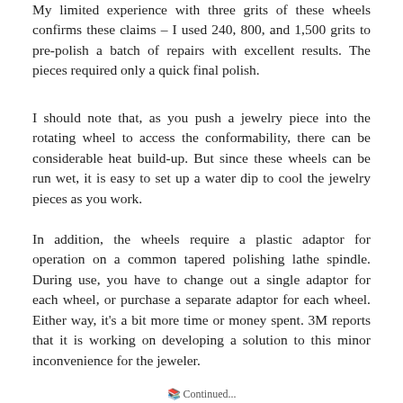My limited experience with three grits of these wheels confirms these claims – I used 240, 800, and 1,500 grits to pre-polish a batch of repairs with excellent results. The pieces required only a quick final polish.
I should note that, as you push a jewelry piece into the rotating wheel to access the conformability, there can be considerable heat build-up. But since these wheels can be run wet, it is easy to set up a water dip to cool the jewelry pieces as you work.
In addition, the wheels require a plastic adaptor for operation on a common tapered polishing lathe spindle. During use, you have to change out a single adaptor for each wheel, or purchase a separate adaptor for each wheel. Either way, it's a bit more time or money spent. 3M reports that it is working on developing a solution to this minor inconvenience for the jeweler.
Continued...